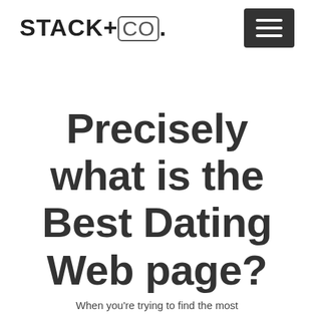STACK+CO.
Precisely what is the Best Dating Web page?
When you're trying to find the most